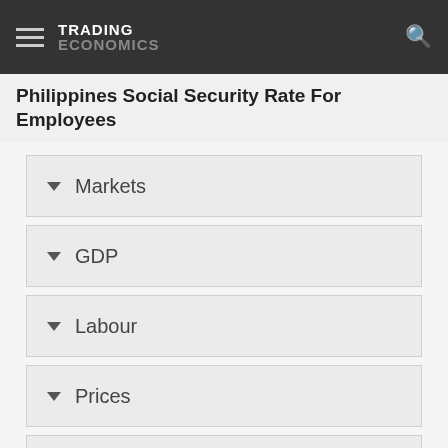TRADING ECONOMICS
Philippines Social Security Rate For Employees
Markets
GDP
Labour
Prices
Health
Money
Trade
Government